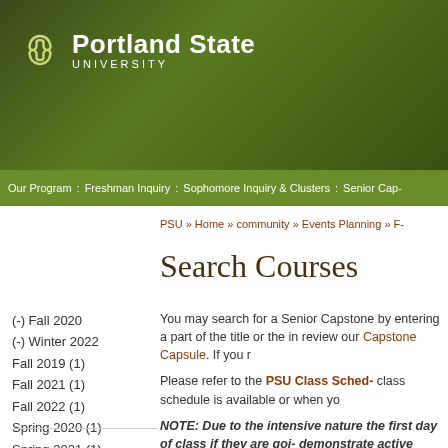Portland State University
Our Program : Freshman Inquiry : Sophomore Inquiry & Clusters : Senior Cap-
PSU » Home » community » Events Planning » F-
Search Courses
(-) Fall 2020
(-) Winter 2022
Fall 2019 (1)
Fall 2021 (1)
Fall 2022 (1)
Spring 2020 (1)
Spring 2021 (1)
Spring 2022 (1)
Winter 2020 (1)
Winter 2021 (1)
You may search for a Senior Capstone by entering a part of the title or the in- review our Capstone Capsule. If you r
Please refer to the PSU Class Sched- class schedule is available or when yo
NOTE:  Due to the intensive nature the first day of class if they are goi- demonstrate active participation du- and participation into the final grac
NOTE:  "Sustainability" tagged cou- seek approval from Joseph Maser,